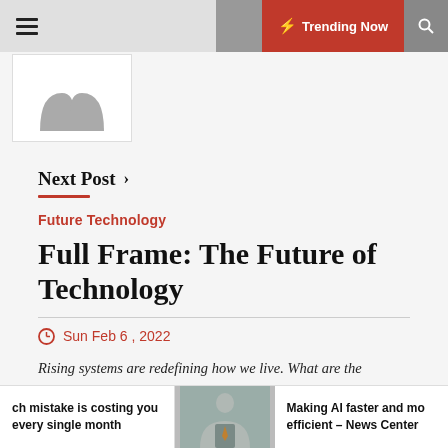Trending Now
[Figure (photo): User avatar silhouette placeholder image in white box]
Next Post >
Future Technology
Full Frame: The Future of Technology
Sun Feb 6 , 2022
Rising systems are redefining how we live. What are the innovations that will change our environment? China's Tech Future In China, the upcoming frontier of
ch mistake is costing you every single month
[Figure (photo): Photo of a person in a suit reading or holding documents]
Making AI faster and mo efficient – News Center